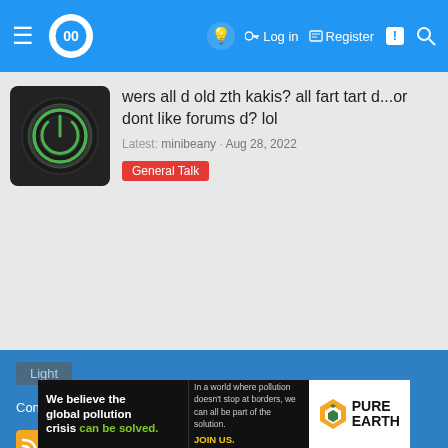≡ [logo] [lightbulb] Log in  Register  [alerts] [search]
wers all d old zth kakis? all fart tart d...or dont like forums d? lol
Latest: minibeany · Aug 28, 2022
General Talk
Light  Contact us  Terms and rules  Privacy policy  Help  Home ↑  [RSS]
[Figure (other): Advertisement banner for Pure Earth: 'We believe the global pollution crisis can be solved. In a world where pollution doesn't stop at borders, we can all be part of the solution. JOIN US.']